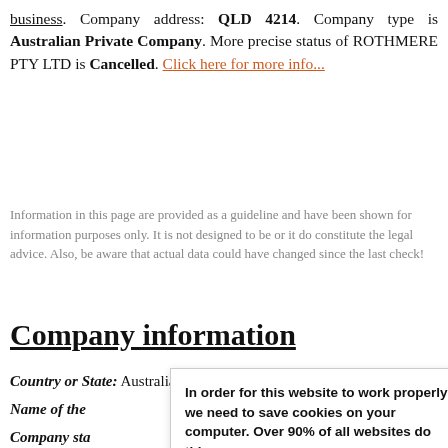business. Company address: QLD 4214. Company type is Australian Private Company. More precise status of ROTHMERE PTY LTD is Cancelled. Click here for more info...
Information in this page are provided as a guideline and have been shown for information purposes only. It is not designed to be or it do constitute the legal advice. Also, be aware that actual data could have changed since the last check!
Company information
Country or State: Australia
Name of the
Company sta
Principals: W
In order for this website to work properly we need to save cookies on your computer. Over 90% of all websites do this. That's fine! About cookies